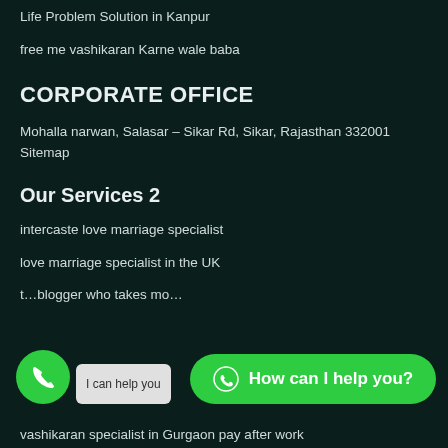Life Problem Solution in Kanpur
free me vashikaran Karne wale baba
CORPORATE OFFICE
Mohalla narwan, Salasar – Sikar Rd, Sikar, Rajasthan 332001
Sitemap
Our Services 2
intercaste love marriage specialist
love marriage specialist in the UK
t…blogger who takes mo…
vashikaran specialist in Gurgaon pay after work